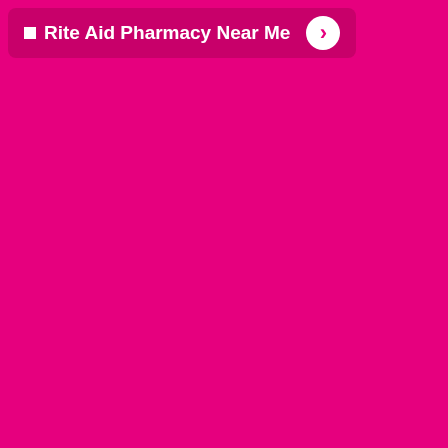Rite Aid Pharmacy Near Me
freestuff
REGULAR RETAIL OF EQUAL OR LESSER VALUE. ITEMS WITH WELLNESS+ CARD
GET 1
WHEN YOU BUY $2
*Limit 2 +UP offers per card per transaction. See page 4 for additional details.
GET
Kellogg's Cereal Special K
Cereal Bars Special K
5 - 6 ct. or Special K Mo
Selection may vary by st
YOU PAY 3 FOR $
LESS MANUFACTURER'S COUPON IN MOST SUNDAY PAPERS -1$
FINAL COST AFTER MANUFACTURER'S COUPON IN MOST SUNDAY PAPERS 3 FOR $
WITH WELLNESS+ CARD
SINGLE PURCHASE PRICE $
G
+UP REWA
rcom